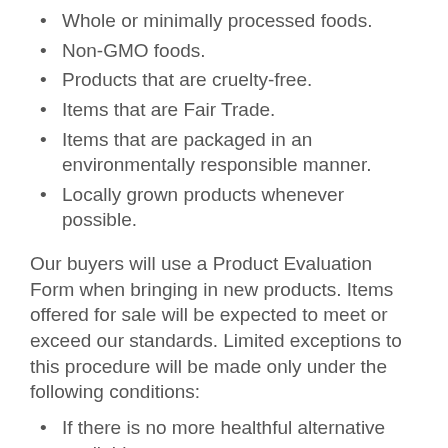Whole or minimally processed foods.
Non-GMO foods.
Products that are cruelty-free.
Items that are Fair Trade.
Items that are packaged in an environmentally responsible manner.
Locally grown products whenever possible.
Our buyers will use a Product Evaluation Form when bringing in new products. Items offered for sale will be expected to meet or exceed our standards. Limited exceptions to this procedure will be made only under the following conditions:
If there is no more healthful alternative available.
If member demand for a particular item is strong and the product committee determines